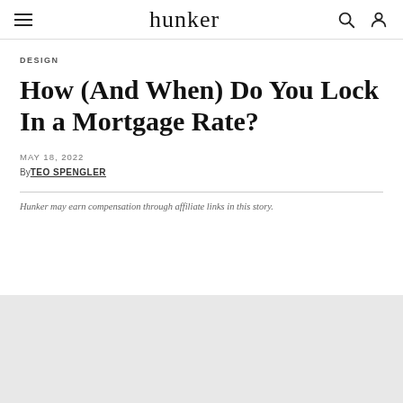hunker
DESIGN
How (And When) Do You Lock In a Mortgage Rate?
MAY 18, 2022
By TEO SPENGLER
Hunker may earn compensation through affiliate links in this story.
[Figure (photo): Light gray image placeholder area at bottom of page]